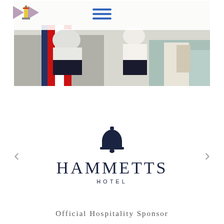[Figure (photo): Hero photo of sailors on a sailing boat with red and white sail visible, two people visible, water in background]
[Figure (logo): Club/organization logo with flags and lighthouse icon in the header area]
[Figure (logo): Hammetts Hotel logo: dark navy bell icon above the text HAMMETTS HOTEL]
Official Hospitality Sponsor